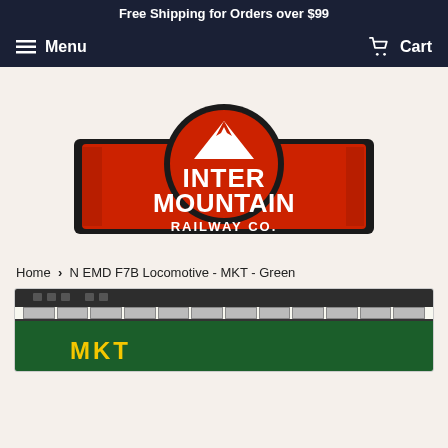Free Shipping for Orders over $99
Menu   Cart
[Figure (logo): Inter Mountain Railway Co. logo — red shield shape with mountain peaks silhouette in white, bold white text reading INTER MOUNTAIN RAILWAY CO.]
Home › N EMD F7B Locomotive - MKT - Green
[Figure (photo): Photo of an N scale EMD F7B locomotive model in MKT (Missouri-Kansas-Texas) green livery with yellow MKT lettering]